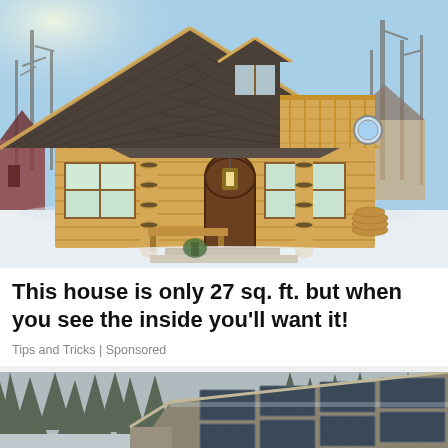[Figure (photo): A small log cabin with a steep dark shingled roof, wooden balcony, front porch with log columns, and a lantern, surrounded by bare trees and snow on the ground, photographed in winter daylight.]
This house is only 27 sq. ft. but when you see the inside you'll want it!
Tips and Tricks | Sponsored
[Figure (photo): Partial view of a wooden outbuilding or cabin roof with solar panels installed on it, surrounded by tall pine trees, photographed in winter.]